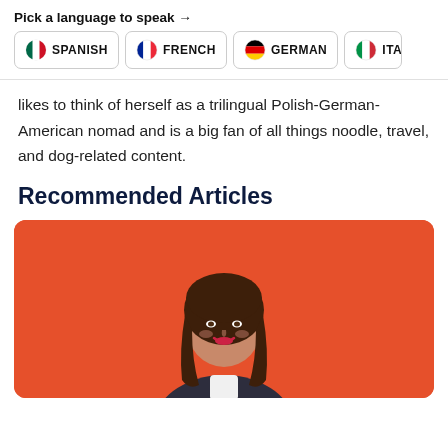Pick a language to speak →
[Figure (infographic): Four language selection buttons: SPANISH (Mexico flag), FRENCH (France flag), GERMAN (Germany flag), ITALIAN (Italy flag, partially visible)]
likes to think of herself as a trilingual Polish-German-American nomad and is a big fan of all things noodle, travel, and dog-related content.
Recommended Articles
[Figure (photo): A woman with long brown hair smiling, wearing a dark jacket, standing against a bright red/orange textured wall background.]